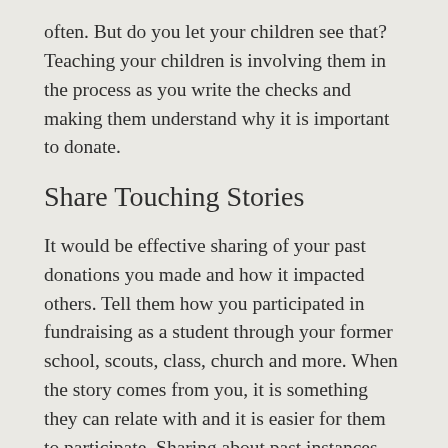often. But do you let your children see that? Teaching your children is involving them in the process as you write the checks and making them understand why it is important to donate.
Share Touching Stories
It would be effective sharing of your past donations you made and how it impacted others. Tell them how you participated in fundraising as a student through your former school, scouts, class, church and more. When the story comes from you, it is something they can relate with and it is easier for them to participate. Sharing about past instances where you shared things with others or received a help is something that can help them know you as a person. Sharing not only see you as their role model but create a lasting impression to them in future.